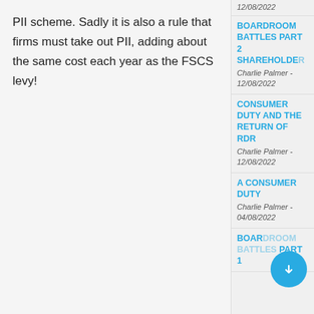PII scheme. Sadly it is also a rule that firms must take out PII, adding about the same cost each year as the FSCS levy!
12/08/2022
BOARDROOM BATTLES PART 2 SHAREHOLDER
Charlie Palmer - 12/08/2022
CONSUMER DUTY AND THE RETURN OF RDR
Charlie Palmer - 12/08/2022
A CONSUMER DUTY
Charlie Palmer - 04/08/2022
BOARDROOM BATTLES PART 1